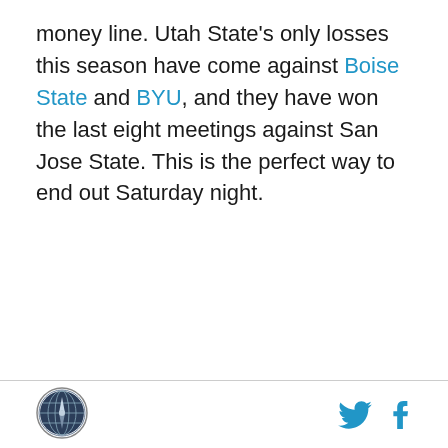money line. Utah State's only losses this season have come against Boise State and BYU, and they have won the last eight meetings against San Jose State. This is the perfect way to end out Saturday night.
[Figure (logo): Circular logo with a globe/compass design in dark blue and grey tones]